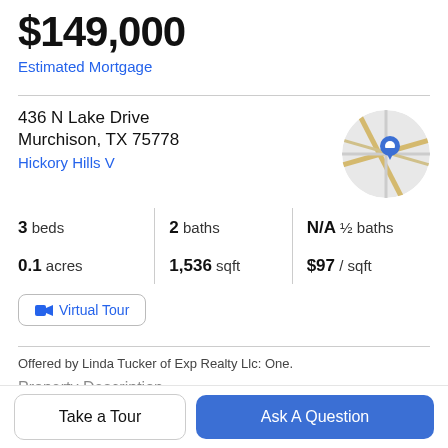$149,000
Estimated Mortgage
436 N Lake Drive
Murchison, TX 75778
Hickory Hills V
[Figure (map): Circular map thumbnail showing streets with a blue location pin marker]
3 beds | 2 baths | N/A ½ baths
0.1 acres | 1,536 sqft | $97 / sqft
Virtual Tour
Offered by Linda Tucker of Exp Realty Llc: One.
Property Description
Take a Tour
Ask A Question